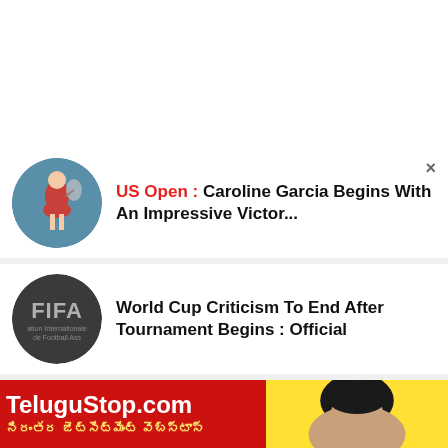[Figure (screenshot): News card 1: Tennis player thumbnail with headline 'US Open : Caroline Garcia Begins With An Impressive Victor...' and close button X]
[Figure (screenshot): News card 2: FIFA logo thumbnail with headline 'World Cup Criticism To End After Tournament Begins : Official']
[Figure (screenshot): News card 3: FIFA logo thumbnail with headline 'World Cup Criticism To End After Tournament Begins : Official' and arrow button]
[Figure (screenshot): Bottom banner: TeluguStop.com advertisement in red with yellow subtitle text and person photo on right]